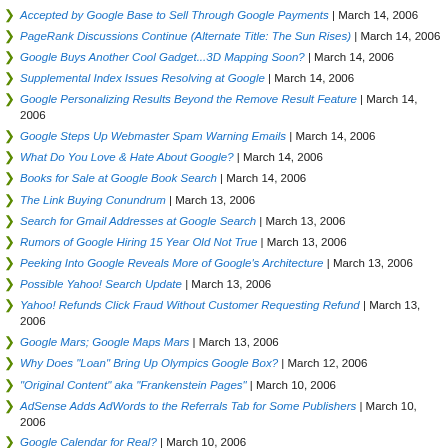Accepted by Google Base to Sell Through Google Payments | March 14, 2006
PageRank Discussions Continue (Alternate Title: The Sun Rises) | March 14, 2006
Google Buys Another Cool Gadget...3D Mapping Soon? | March 14, 2006
Supplemental Index Issues Resolving at Google | March 14, 2006
Google Personalizing Results Beyond the Remove Result Feature | March 14, 2006
Google Steps Up Webmaster Spam Warning Emails | March 14, 2006
What Do You Love & Hate About Google? | March 14, 2006
Books for Sale at Google Book Search | March 14, 2006
The Link Buying Conundrum | March 13, 2006
Search for Gmail Addresses at Google Search | March 13, 2006
Rumors of Google Hiring 15 Year Old Not True | March 13, 2006
Peeking Into Google Reveals More of Google's Architecture | March 13, 2006
Possible Yahoo! Search Update | March 13, 2006
Yahoo! Refunds Click Fraud Without Customer Requesting Refund | March 13, 2006
Google Mars; Google Maps Mars | March 13, 2006
Why Does "Loan" Bring Up Olympics Google Box? | March 12, 2006
"Original Content" aka "Frankenstein Pages" | March 10, 2006
AdSense Adds AdWords to the Referrals Tab for Some Publishers | March 10, 2006
Google Calendar for Real? | March 10, 2006
AdWords Adds "Settings" Toggle, Updates Traffic Estimator & More | March 10, 2006